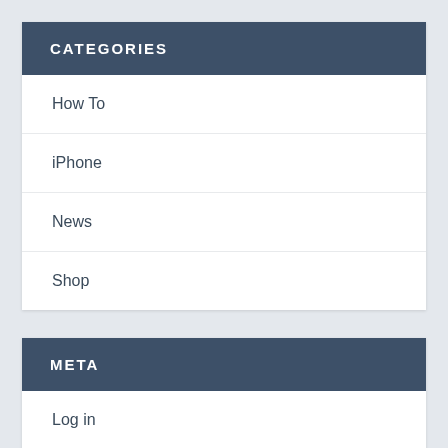CATEGORIES
How To
iPhone
News
Shop
META
Log in
Entries feed